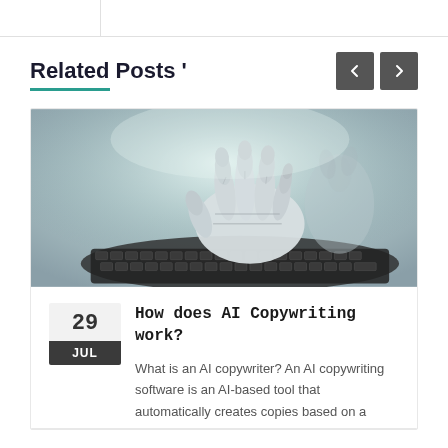Related Posts '
[Figure (photo): Robot hand with mechanical fingers typing on a keyboard, AI/technology concept image in muted teal and gray tones]
How does AI Copywriting work?
What is an AI copywriter?  An AI copywriting software is an AI-based tool that automatically creates copies based on a specific set of...